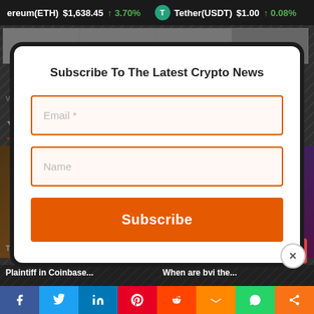ereum(ETH) $1,638.45 ↑ 3.70%   Tether(USDT) $1.00 ↑ 0.08%
| 29 | 30 | 31 |  |
v 7
You m
[Figure (screenshot): Subscribe to newsletter modal overlay with email and name input fields and an orange Subscribe button, on a crypto news website background]
Plaintiff in Coinbase...
When are bvi the...